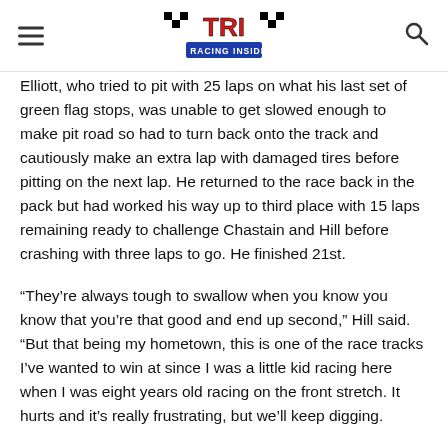TRI — The Racing Insiders
Elliott, who tried to pit with 25 laps on what his last set of green flag stops, was unable to get slowed enough to make pit road so had to turn back onto the track and cautiously make an extra lap with damaged tires before pitting on the next lap. He returned to the race back in the pack but had worked his way up to third place with 15 laps remaining ready to challenge Chastain and Hill before crashing with three laps to go. He finished 21st.
“They’re always tough to swallow when you know you know that you’re that good and end up second,” Hill said. “But that being my hometown, this is one of the race tracks I’ve wanted to win at since I was a little kid racing here when I was eight years old racing on the front stretch. It hurts and it’s really frustrating, but we’ll keep digging.
“We have that points lead and we’re hoping to keep it. I’m excited to go to Homestead [next weekend], maybe we can get a win